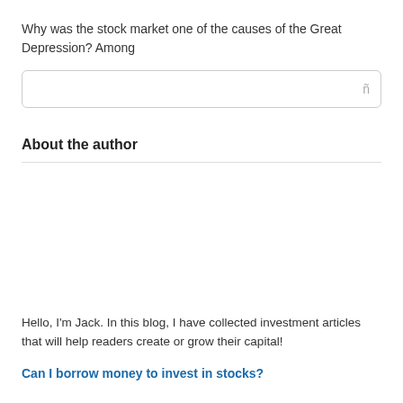Why was the stock market one of the causes of the Great Depression? Among
About the author
Hello, I'm Jack. In this blog, I have collected investment articles that will help readers create or grow their capital!
Can I borrow money to invest in stocks?